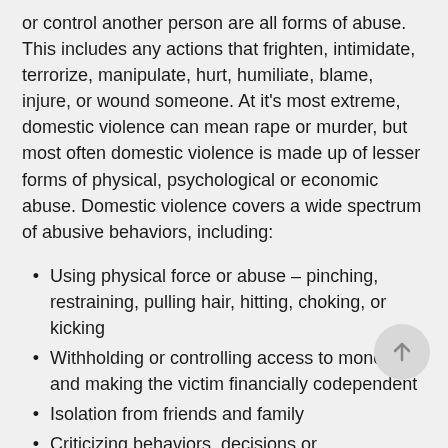or control another person are all forms of abuse. This includes any actions that frighten, intimidate, terrorize, manipulate, hurt, humiliate, blame, injure, or wound someone. At it's most extreme, domestic violence can mean rape or murder, but most often domestic violence is made up of lesser forms of physical, psychological or economic abuse. Domestic violence covers a wide spectrum of abusive behaviors, including:
Using physical force or abuse – pinching, restraining, pulling hair, hitting, choking, or kicking
Withholding or controlling access to money and making the victim financially codependent
Isolation from friends and family
Criticizing behaviors, decisions or